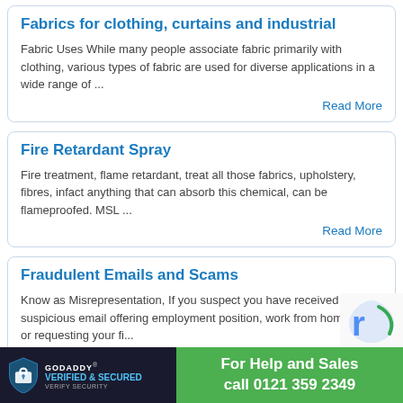Fabrics for clothing, curtains and industrial
Fabric Uses While many people associate fabric primarily with clothing, various types of fabric are used for diverse applications in a wide range of ...
Read More
Fire Retardant Spray
Fire treatment, flame retardant, treat all those fabrics, upholstery, fibres, infact anything that can absorb this chemical, can be flameproofed. MSL ...
Read More
Fraudulent Emails and Scams
Know as Misrepresentation, If you suspect you have received a suspicious email offering employment position, work from home jobs or requesting your fi...
Read More
For Help and Sales call 0121 359 2349